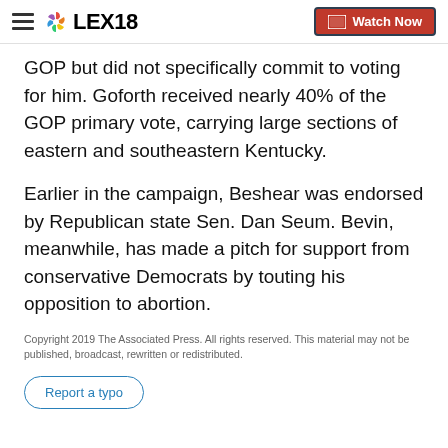LEX18 — Watch Now
GOP but did not specifically commit to voting for him. Goforth received nearly 40% of the GOP primary vote, carrying large sections of eastern and southeastern Kentucky.
Earlier in the campaign, Beshear was endorsed by Republican state Sen. Dan Seum. Bevin, meanwhile, has made a pitch for support from conservative Democrats by touting his opposition to abortion.
Copyright 2019 The Associated Press. All rights reserved. This material may not be published, broadcast, rewritten or redistributed.
Report a typo